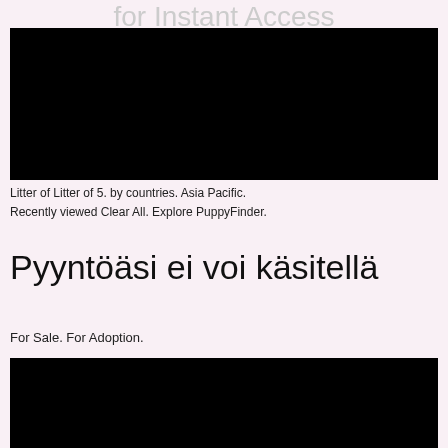for Instant Access
[Figure (photo): Black rectangle image, top section]
Litter of Litter of 5. by countries. Asia Pacific. Recently viewed Clear All. Explore PuppyFinder.
Pyyntöäsi ei voi käsitellä
For Sale. For Adoption.
[Figure (photo): Black rectangle image, bottom section]